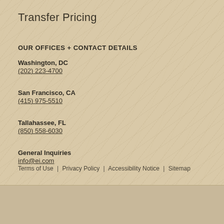Transfer Pricing
OUR OFFICES + CONTACT DETAILS
Washington, DC
(202) 223-4700
San Francisco, CA
(415) 975-5510
Tallahassee, FL
(850) 558-6030
General Inquiries
info@ei.com
Terms of Use | Privacy Policy | Accessibility Notice | Sitemap
© Economists Incorporated 2015 – 2022, all rights reserved.